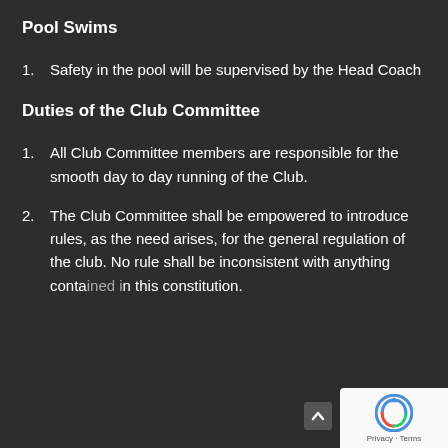Pool Swims
Safety in the pool will be supervised by the Head Coach
Duties of the Club Committee
All Club Committee members are responsible for the smooth day to day running of the Club.
The Club Committee shall be empowered to introduce rules, as the need arises, for the general regulation of the club. No rule shall be inconsistent with anything contained in this constitution.